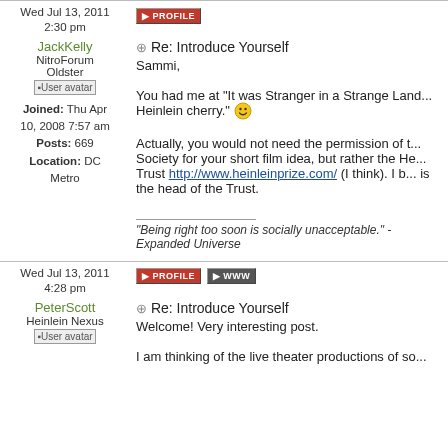Wed Jul 13, 2011 2:30 pm
JackKelly
NitroForum Oldster
[User avatar]
Joined: Thu Apr 10, 2008 7:57 am
Posts: 669
Location: DC Metro
Re: Introduce Yourself
Sammi,

You had me at "It was Stranger in a Strange Land... Heinlein cherry." :)

Actually, you would not need the permission of the Society for your short film idea, but rather the Heinlein Trust http://www.heinleinprize.com/ (I think). I b... is the head of the Trust.

"Being right too soon is socially unacceptable." -... Expanded Universe
Wed Jul 13, 2011 4:28 pm
PeterScott
Heinlein Nexus
[User avatar]
Re: Introduce Yourself
Welcome! Very interesting post.

I am thinking of the live theater productions of so...